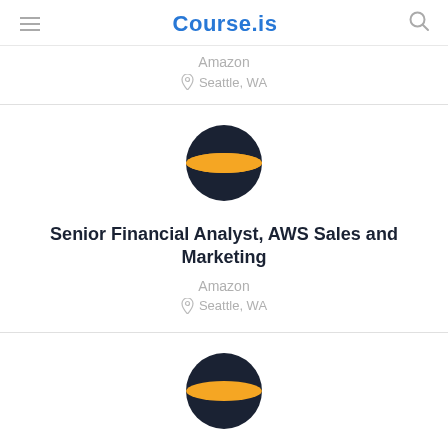Course.is
Amazon
Seattle, WA
[Figure (logo): Amazon circular logo — dark navy sphere with orange horizontal band across middle]
Senior Financial Analyst, AWS Sales and Marketing
Amazon
Seattle, WA
[Figure (logo): Amazon circular logo — dark navy sphere with orange horizontal band across middle]
Financial Analyst, NAMER Partner Sales